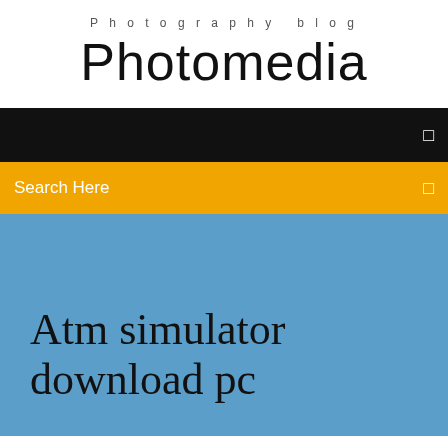Photography blog
Photomedia
[Figure (screenshot): Black navigation bar with a small square icon on the right]
Search Here
Atm simulator download pc